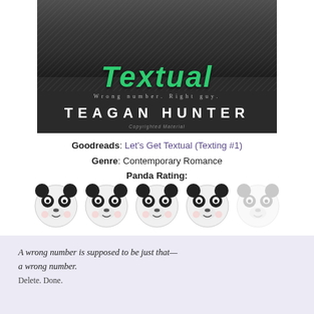[Figure (illustration): Book cover for 'Let's Get Textual' by Teagan Hunter. Dark background with jeans, green italic cursive title text, subtitle 'Wrong number. Right guy.' and author name in white bold capitals.]
Goodreads: Let’s Get Textual (Texting #1)
Genre: Contemporary Romance
Panda Rating:
[Figure (illustration): Five panda face emojis in a row representing a rating of approximately 4.5 out of 5 pandas. The fifth panda appears faded/greyed out.]
A wrong number is supposed to be just that—a wrong number.
Delete. Done.